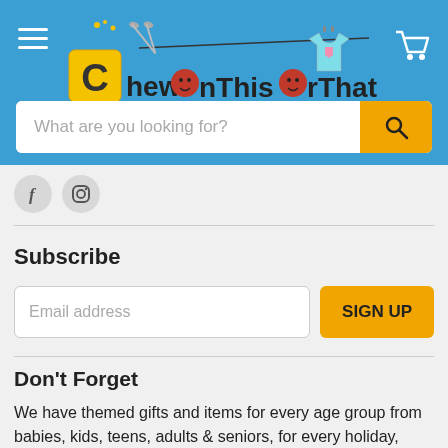[Figure (logo): ChewOnThisOrThat logo with colorful text, clothes hanging on a line, and a shopping cart icon on a blue header background]
[Figure (screenshot): Search bar with placeholder text 'What are you looking for?' and orange search button]
[Figure (illustration): Social media icons: Facebook (f) and Instagram (camera) as circular grey buttons]
Subscribe
[Figure (screenshot): Email address input field and orange SIGN UP button]
Don't Forget
We have themed gifts and items for every age group from babies, kids, teens, adults & seniors, for every holiday, social event, birthdays & anniversaries.